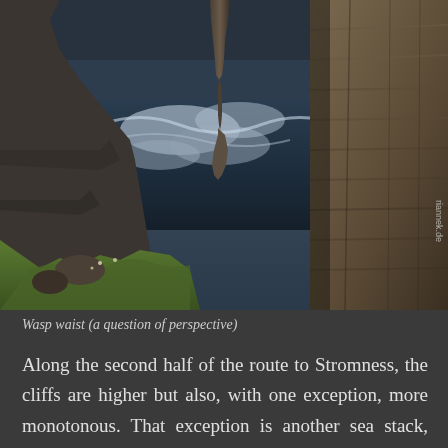[Figure (photo): Dramatic coastal photograph showing a sea stack with a narrow 'wasp waist' formation between two cliffs, with turbulent ocean waves below and green grass in the foreground. The image is taken from a low angle looking across the cliff edge. A watermark 'riannek.de' is visible on the right side.]
Wasp waist (a question of perspective)
Along the second half of the route to Stromness, the cliffs are higher but also, with one exception, more monotonous. That exception is another sea stack, North Gaulton Castle. From a certain perspective, it looks very fragile, with a real wasp waist. With Stromness,